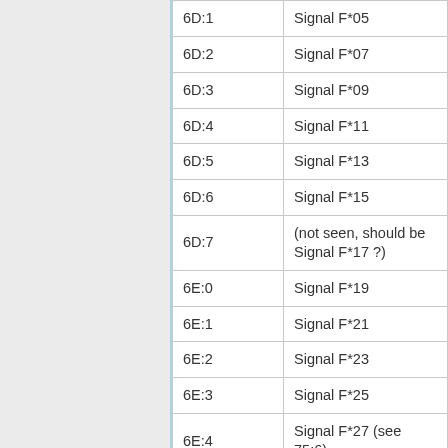| 6D:1 | Signal F*05 |
| 6D:2 | Signal F*07 |
| 6D:3 | Signal F*09 |
| 6D:4 | Signal F*11 |
| 6D:5 | Signal F*13 |
| 6D:6 | Signal F*15 |
| 6D:7 | (not seen, should be Signal F*17 ?) |
| 6E:0 | Signal F*19 |
| 6E:1 | Signal F*21 |
| 6E:2 | Signal F*23 |
| 6E:3 | Signal F*25 |
| 6E:4 | Signal F*27 (see 75:6) |
| 6E:5 | Signal 0002 |
| 6E:6 | Signal 0004 |
| 6E:7 | (seen, unknown) |